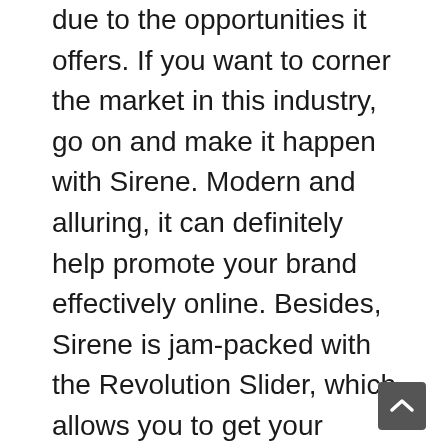due to the opportunities it offers. If you want to corner the market in this industry, go on and make it happen with Sirene. Modern and alluring, it can definitely help promote your brand effectively online. Besides, Sirene is jam-packed with the Revolution Slider, which allows you to get your users' eyes focused only on your content. Since it is one of the best diving and water activities WordPress themes on the list, you can rest assured that it has a lot to offer. Thus, you can create as many new page layouts as you may need and showcase your boats and/or yachts in a more eye-catching manner. Let your customers catch “the” wave and share their adventures through social media. Lastly, mak any changes you want to make sure that your